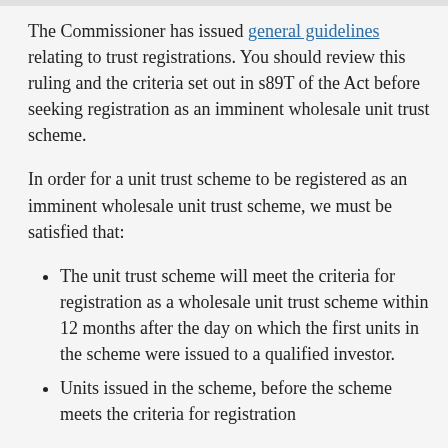The Commissioner has issued general guidelines relating to trust registrations. You should review this ruling and the criteria set out in s89T of the Act before seeking registration as an imminent wholesale unit trust scheme.
In order for a unit trust scheme to be registered as an imminent wholesale unit trust scheme, we must be satisfied that:
The unit trust scheme will meet the criteria for registration as a wholesale unit trust scheme within 12 months after the day on which the first units in the scheme were issued to a qualified investor.
Units issued in the scheme, before the scheme meets the criteria for registration